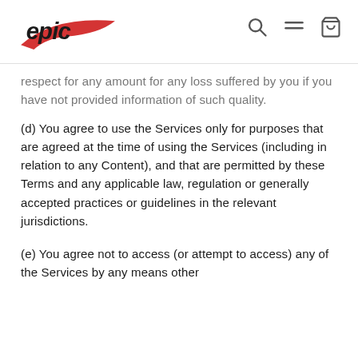Epic Kayaks
respect for any amount for any loss suffered by you if you have not provided information of such quality.
(d) You agree to use the Services only for purposes that are agreed at the time of using the Services (including in relation to any Content), and that are permitted by these Terms and any applicable law, regulation or generally accepted practices or guidelines in the relevant jurisdictions.
(e) You agree not to access (or attempt to access) any of the Services by any means other